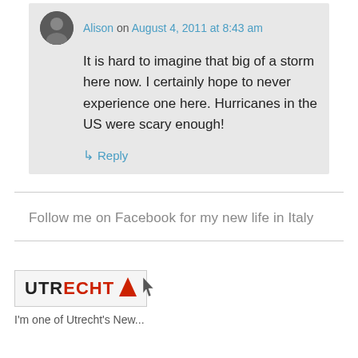Alison on August 4, 2011 at 8:43 am
It is hard to imagine that big of a storm here now. I certainly hope to never experience one here. Hurricanes in the US were scary enough!
↳ Reply
Follow me on Facebook for my new life in Italy
[Figure (logo): Utrecht logo with black and red text and a red triangle, with a cursor arrow icon]
I'm one of Utrecht's New...